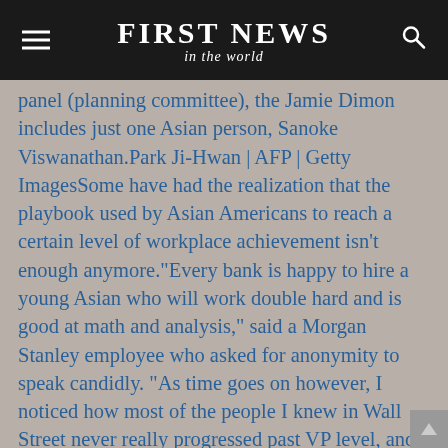FIRST NEWS in the world
panel (planning committee), the Jamie Dimon includes just one Asian person, Sanoke Viswanathan.Park Ji-Hwan | AFP | Getty ImagesSome have had the realization that the playbook used by Asian Americans to reach a certain level of workplace achievement isn't enough anymore."Every bank is happy to hire a young Asian who will work double hard and is good at math and analysis," said a Morgan Stanley employee who asked for anonymity to speak candidly. "As time goes on however, I noticed how most of the people I knew in Wall Street never really progressed past VP level, and many were laid off when cost-cutting rounds came."His explanation for this phenomenon is two-fold: Parents of Asian Americans drilled a set